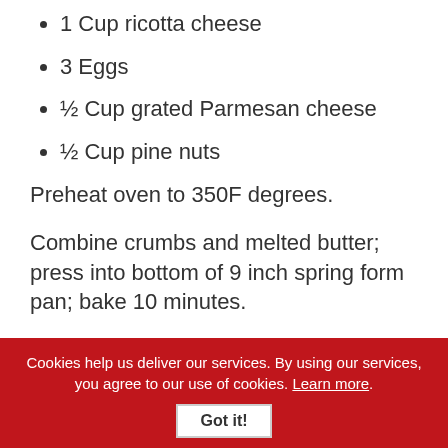1 Cup ricotta cheese
3 Eggs
½ Cup grated Parmesan cheese
½ Cup pine nuts
Preheat oven to 350F degrees.
Combine crumbs and melted butter; press into bottom of 9 inch spring form pan; bake 10 minutes.
Place oil, basil, salt and garlic in blender container; process on high until smooth.
Combine basil mixture, cream cheese and ricotta in
Cookies help us deliver our services. By using our services, you agree to our use of cookies. Learn more.
Got it!